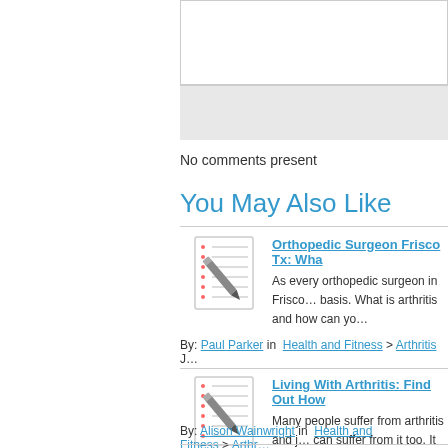No comments present
You May Also Like
[Figure (illustration): Notepad with pencil icon for article thumbnail]
Orthopedic Surgeon Frisco Tx: Wha…
As every orthopedic surgeon in Frisco… basis. What is arthritis and how can yo…
By: Paul Parker in Health and Fitness > Arthritis J…
[Figure (illustration): Notepad with pencil icon for article thumbnail]
Living With Arthritis: Find Out How…
Many people suffer from arthritis and j… can suffer from it too. It can be extrem… wear and tear…
By: Alison Wainwright in Health and Fitness > Arthr…